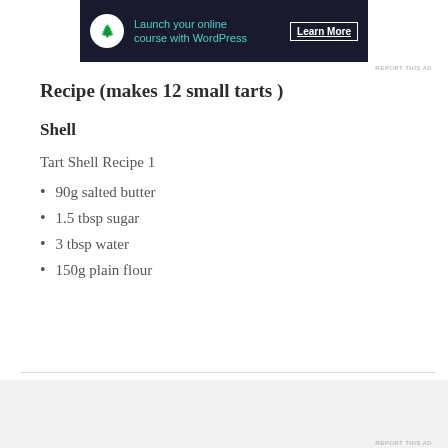[Figure (other): Advertisement banner with dark background, bonsai tree icon, teal text 'Launch your online course with WordPress', and 'Learn More' button]
Recipe (makes 12 small tarts )
Shell
Tart Shell Recipe 1
90g salted butter
1.5 tbsp sugar
3 tbsp water
150g plain flour
Advertisements